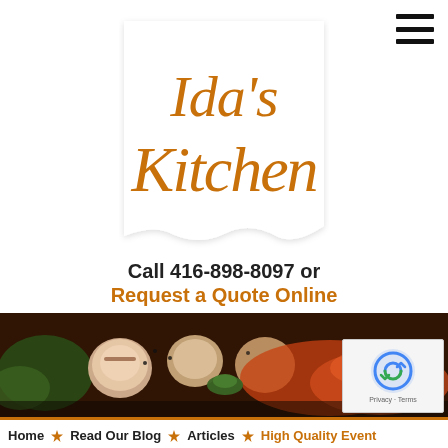[Figure (logo): Ida's Kitchen logo in cursive orange script on white badge shape]
Call 416-898-8097 or
Request a Quote Online
[Figure (photo): Close-up food photo showing seared scallops with sauce and garnish on dark background]
Home  ★  Read Our Blog  ★  Articles  ★  High Quality Event